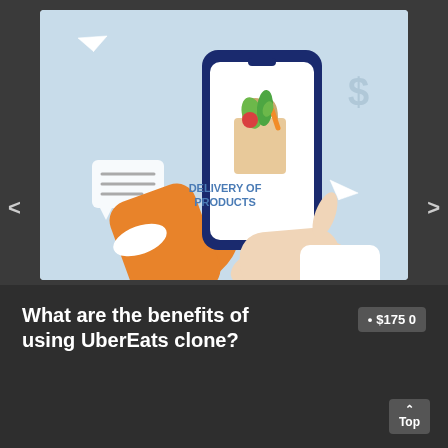[Figure (illustration): Illustration of two hands holding a smartphone showing a grocery delivery bag with text 'DELIVERY OF PRODUCTS'. Decorative elements include paper airplanes, a chat bubble, and a dollar sign on a light blue background.]
What are the benefits of using UberEats clone?
• $1750